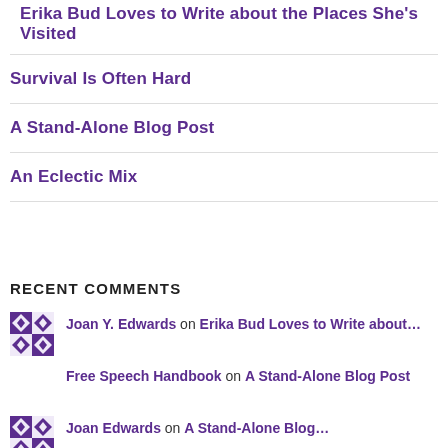Erika Bud Loves to Write about the Places She's Visited
Survival Is Often Hard
A Stand-Alone Blog Post
An Eclectic Mix
RECENT COMMENTS
Joan Y. Edwards on Erika Bud Loves to Write about...
Free Speech Handbook on A Stand-Alone Blog Post
Joan Edwards on A Stand-Alone Blog...